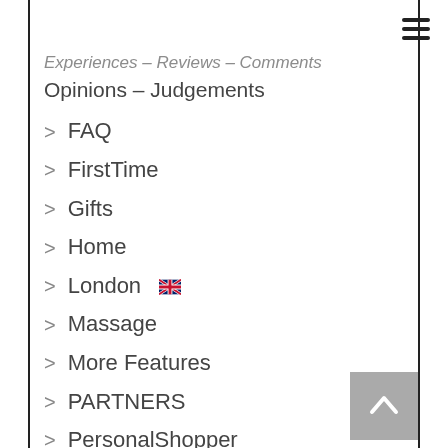Experiences – Reviews – Comments
Opinions – Judgements
> FAQ
> FirstTime
> Gifts
> Home
> London 🇬🇧
> Massage
> More Features
> PARTNERS
> PersonalShopper
> Reborning
> Services
> Stories